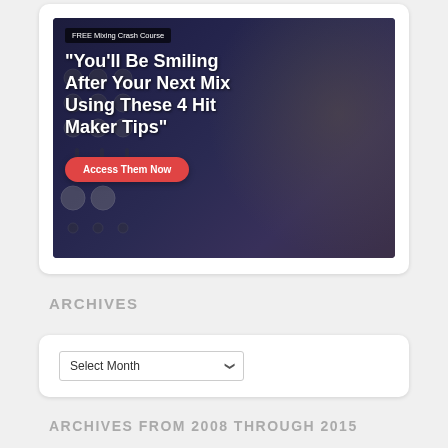[Figure (photo): Promotional banner image showing a smiling middle-aged man with blonde hair against a mixing board background. Text overlay reads: FREE Mixing Crash Course / "You'll Be Smiling After Your Next Mix Using These 4 Hit Maker Tips" / Access Them Now (button)]
ARCHIVES
Select Month
ARCHIVES FROM 2008 THROUGH 2015